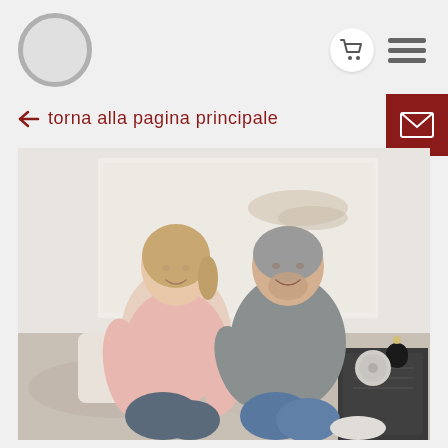[Figure (logo): Circular logo icon, grey ring/circle]
[Figure (other): Shopping cart icon in white circle button]
[Figure (other): Hamburger menu icon (three horizontal bars)]
← torna alla pagina principale
[Figure (other): Red envelope/email button icon]
[Figure (photo): A couple (woman in pink sweater and man in grey sweater) sitting on a bed, smiling at each other, bedroom setting with white wall art behind them]